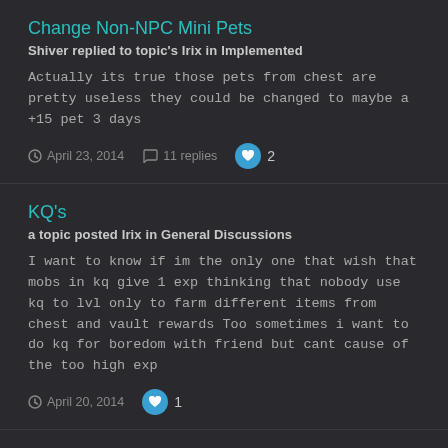Change Non-NPC Mini Pets
Shiver replied to topic's Irix in Implemented
Actually its true those pets from chest are pretty useless they could be changed to maybe a +15 pet 3 days
April 23, 2014   11 replies   2
KQ's
a topic posted Irix in General Discussions
I want to know if im the only one that wish that mobs in kq give 1 exp thinking that nobody use kq to lvl only to farm different items from chest and vault rewards Too sometimes i want to do kq for boredom with friend but cant cause of the too high exp
April 20, 2014   1
What are you listening to?